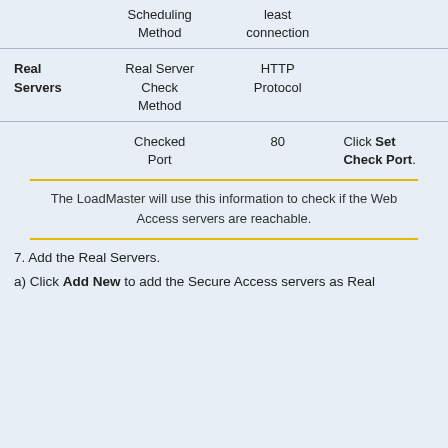|  | Scheduling Method | least connection |  |
| --- | --- | --- | --- |
| Real Servers | Real Server Check Method | HTTP Protocol |  |
|  | Checked Port | 80 | Click Set Check Port. |
The LoadMaster will use this information to check if the Web Access servers are reachable.
7. Add the Real Servers.
a) Click Add New to add the Secure Access servers as Real